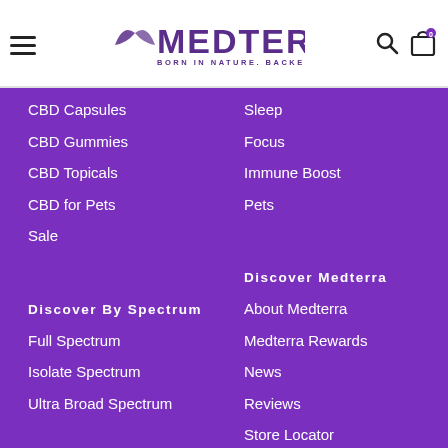MEDTERRA — BORN IN NATURE. BACKED BY SCIENCE.
CBD Capsules
CBD Gummies
CBD Topicals
CBD for Pets
Sale
Sleep
Focus
Immune Boost
Pets
Discover By Spectrum
Full Spectrum
Isolate Spectrum
Ultra Broad Spectrum
Discover Medterra
About Medterra
Medterra Rewards
News
Reviews
Store Locator
Press Releases
CBD Do's and Don'ts
Certificates of Analysis